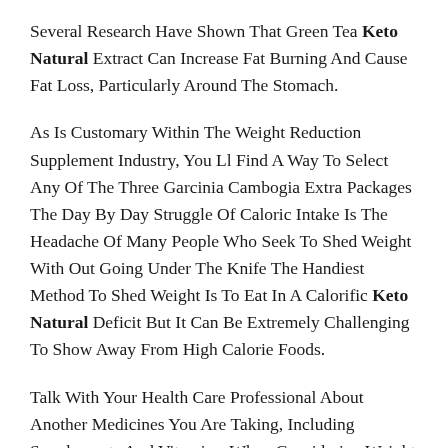Several Research Have Shown That Green Tea Keto Natural Extract Can Increase Fat Burning And Cause Fat Loss, Particularly Around The Stomach.
As Is Customary Within The Weight Reduction Supplement Industry, You Ll Find A Way To Select Any Of The Three Garcinia Cambogia Extra Packages The Day By Day Struggle Of Caloric Intake Is The Headache Of Many People Who Seek To Shed Weight With Out Going Under The Knife The Handiest Method To Shed Weight Is To Eat In A Calorific Keto Natural Deficit But It Can Be Extremely Challenging To Show Away From High Calorie Foods.
Talk With Your Health Care Professional About Another Medicines You Are Taking, Including Supplements And Vitamins, When Considering Weight Administration